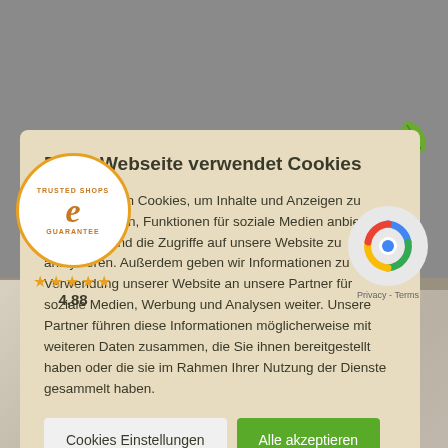Diese Webseite verwendet Cookies
Wir verwenden Cookies, um Inhalte und Anzeigen zu personalisieren, Funktionen für soziale Medien anbieten zu können und die Zugriffe auf unsere Website zu analysieren. Außerdem geben wir Informationen zu Ihrer Verwendung unserer Website an unsere Partner für soziale Medien, Werbung und Analysen weiter. Unsere Partner führen diese Informationen möglicherweise mit weiteren Daten zusammen, die Sie ihnen bereitgestellt haben oder die sie im Rahmen Ihrer Nutzung der Dienste gesammelt haben.
[Figure (logo): Trusted Shops e-badge with star rating 4.88]
[Figure (logo): reCAPTCHA Privacy Terms badge]